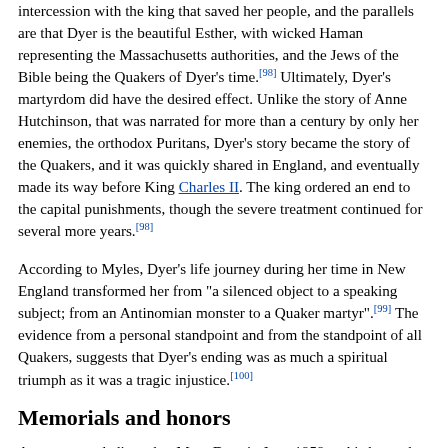intercession with the king that saved her people, and the parallels are that Dyer is the beautiful Esther, with wicked Haman representing the Massachusetts authorities, and the Jews of the Bible being the Quakers of Dyer's time.[98] Ultimately, Dyer's martyrdom did have the desired effect. Unlike the story of Anne Hutchinson, that was narrated for more than a century by only her enemies, the orthodox Puritans, Dyer's story became the story of the Quakers, and it was quickly shared in England, and eventually made its way before King Charles II. The king ordered an end to the capital punishments, though the severe treatment continued for several more years.[98]
According to Myles, Dyer's life journey during her time in New England transformed her from "a silenced object to a speaking subject; from an Antinomian monster to a Quaker martyr".[99] The evidence from a personal standpoint and from the standpoint of all Quakers, suggests that Dyer's ending was as much a spiritual triumph as it was a tragic injustice.[100]
Memorials and honors
A statue was dedicated to Mary Dyer in June 1959 and is located outside the Massachusetts State House.